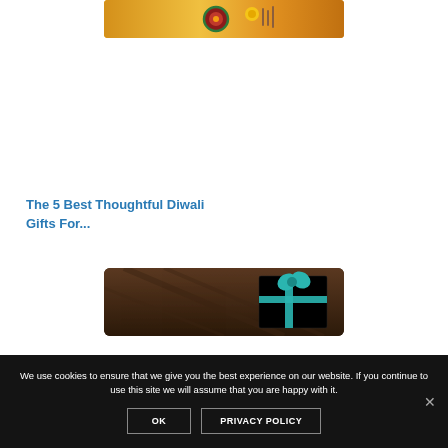[Figure (photo): Top portion of a Diwali-themed photo on yellow/orange background with decorative items (diya, flowers)]
The 5 Best Thoughtful Diwali Gifts For...
[Figure (photo): Dark wooden surface with a dark gift box tied with teal/turquoise ribbon]
We use cookies to ensure that we give you the best experience on our website. If you continue to use this site we will assume that you are happy with it.
OK   PRIVACY POLICY